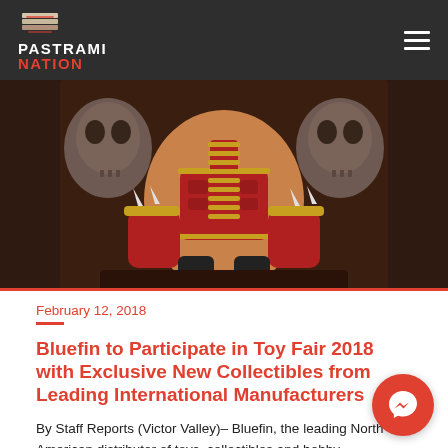PASTRAMI NATION
[Figure (photo): Close-up photo of a collectible figure/statue with skull motifs, red armor, and muscular design, viewed from above/front. Dark brown throne with skull decorations visible.]
February 12, 2018
Bluefin to Participate in Toy Fair 2018 with Exclusive New Collectibles from Leading International Manufacturers
By Staff Reports (Victor Valley)– Bluefin, the leading North American distributor of toys, collectibles and hobby merchandise from Japan, Asia and more,